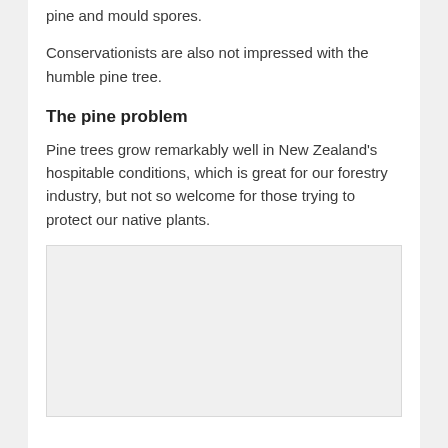pine and mould spores.
Conservationists are also not impressed with the humble pine tree.
The pine problem
Pine trees grow remarkably well in New Zealand's hospitable conditions, which is great for our forestry industry, but not so welcome for those trying to protect our native plants.
[Figure (photo): A light grey placeholder image box, likely for a photo related to pine trees or native New Zealand plants.]